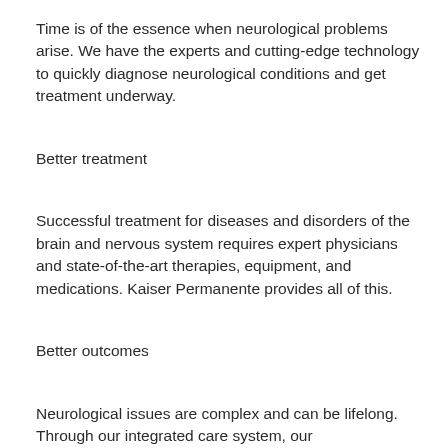Time is of the essence when neurological problems arise. We have the experts and cutting-edge technology to quickly diagnose neurological conditions and get treatment underway.
Better treatment
Successful treatment for diseases and disorders of the brain and nervous system requires expert physicians and state-of-the-art therapies, equipment, and medications. Kaiser Permanente provides all of this.
Better outcomes
Neurological issues are complex and can be lifelong. Through our integrated care system, our